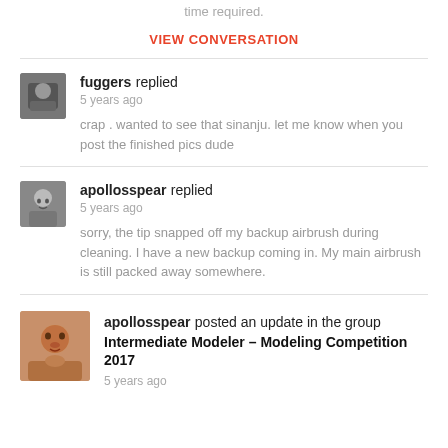time required.
VIEW CONVERSATION
fuggers replied
5 years ago

crap . wanted to see that sinanju. let me know when you post the finished pics dude
apollosspear replied
5 years ago

sorry, the tip snapped off my backup airbrush during cleaning. I have a new backup coming in. My main airbrush is still packed away somewhere.
apollosspear posted an update in the group Intermediate Modeler – Modeling Competition 2017
5 years ago